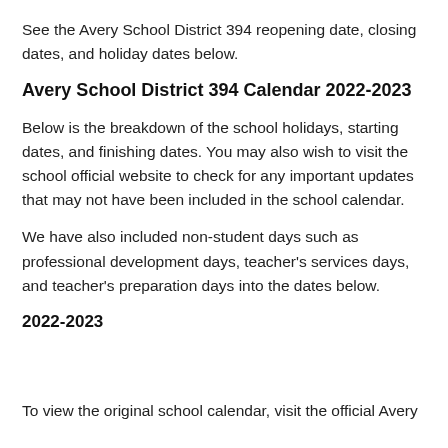See the Avery School District 394 reopening date, closing dates, and holiday dates below.
Avery School District 394 Calendar 2022-2023
Below is the breakdown of the school holidays, starting dates, and finishing dates. You may also wish to visit the school official website to check for any important updates that may not have been included in the school calendar.
We have also included non-student days such as professional development days, teacher's services days, and teacher's preparation days into the dates below.
2022-2023
To view the original school calendar, visit the official Avery